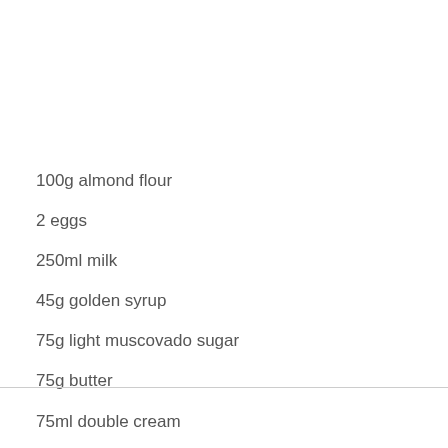100g almond flour
2 eggs
250ml milk
45g golden syrup
75g light muscovado sugar
75g butter
75ml double cream